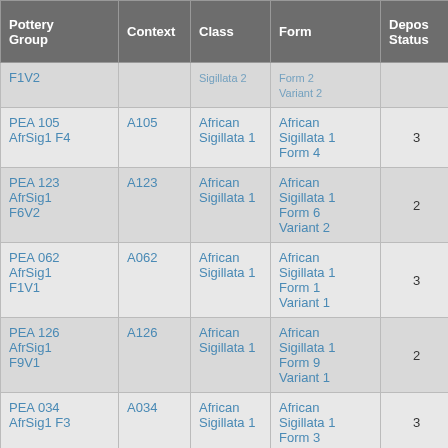| Pottery Group | Context | Class | Form | Depos Status | R Ct ▲ | R E |
| --- | --- | --- | --- | --- | --- | --- |
| F1V2 |  | Sigillata 2 (partial) | Form 2 Variant 2 (partial) |  |  |  |
| PEA 105 AfrSig1 F4 | A105 | African Sigillata 1 | African Sigillata 1 Form 4 | 3 | 1 | 1 |
| PEA 123 AfrSig1 F6V2 | A123 | African Sigillata 1 | African Sigillata 1 Form 6 Variant 2 | 2 | 1 | 1 |
| PEA 062 AfrSig1 F1V1 | A062 | African Sigillata 1 | African Sigillata 1 Form 1 Variant 1 | 3 | 1 | 1 |
| PEA 126 AfrSig1 F9V1 | A126 | African Sigillata 1 | African Sigillata 1 Form 9 Variant 1 | 2 | 1 | 1 |
| PEA 034 AfrSig1 F3 | A034 | African Sigillata 1 | African Sigillata 1 Form 3 (partial) | 3 | 1 | 1 |